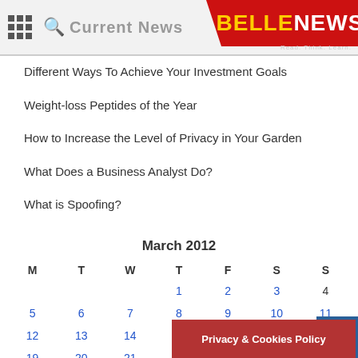Current News | BELLENEWS Read. Think. Learn.
Different Ways To Achieve Your Investment Goals
Weight-loss Peptides of the Year
How to Increase the Level of Privacy in Your Garden
What Does a Business Analyst Do?
What is Spoofing?
| M | T | W | T | F | S | S |
| --- | --- | --- | --- | --- | --- | --- |
|  |  |  | 1 | 2 | 3 | 4 |
| 5 | 6 | 7 | 8 | 9 | 10 | 11 |
| 12 | 13 | 14 | 15 | 16 | 17 | 18 |
| 19 | 20 | 21 |  |  |  | 25 |
Privacy & Cookies Policy